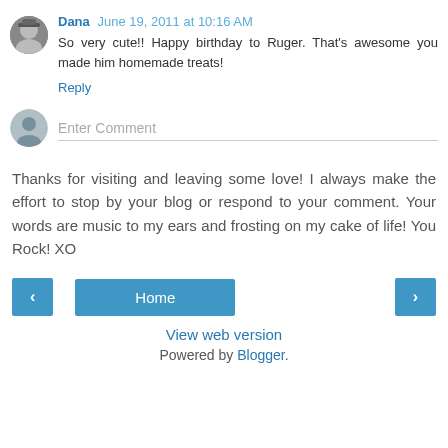Dana June 19, 2011 at 10:16 AM
So very cute!! Happy birthday to Ruger. That's awesome you made him homemade treats!
Reply
[Figure (photo): Small circular avatar photo of Dana, a person wearing a hat, black and white photo]
[Figure (illustration): Generic user avatar silhouette icon, gray circular background]
Enter Comment
Thanks for visiting and leaving some love! I always make the effort to stop by your blog or respond to your comment. Your words are music to my ears and frosting on my cake of life! You Rock! XO
‹
Home
›
View web version
Powered by Blogger.